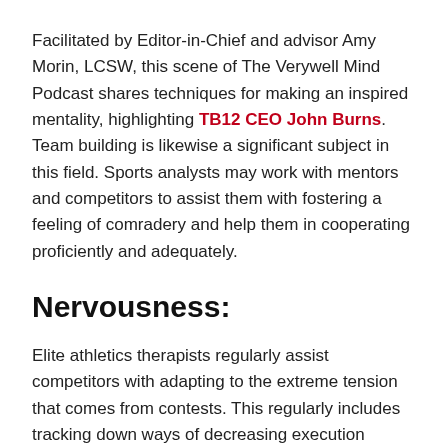Facilitated by Editor-in-Chief and advisor Amy Morin, LCSW, this scene of The Verywell Mind Podcast shares techniques for making an inspired mentality, highlighting TB12 CEO John Burns. Team building is likewise a significant subject in this field. Sports analysts may work with mentors and competitors to assist them with fostering a feeling of comradery and help them in cooperating proficiently and adequately.
Nervousness:
Elite athletics therapists regularly assist competitors with adapting to the extreme tension that comes from contests. This regularly includes tracking down ways of decreasing execution uneasiness and battle burnout.
It isn't unprecedented for competitors to get anxious